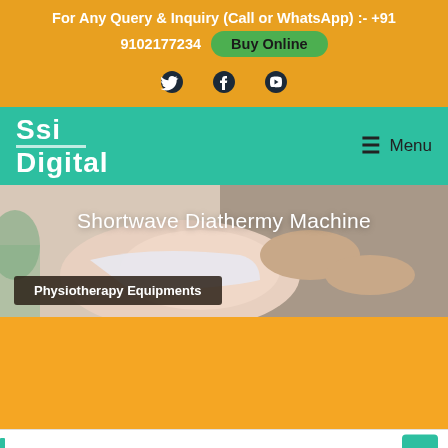For Any Query & Inquiry (Call or WhatsApp) :- +91 9102177234  Buy Online
[Figure (infographic): Social media icons: Twitter, Facebook, YouTube on orange background]
[Figure (logo): SSi Digital logo - white text on teal/green navigation bar with Menu button]
[Figure (photo): Hero image: physiotherapist treating patient's shoulder, with overlay text 'Shortwave Diathermy Machine' and badge 'Physiotherapy Equipments']
Shortwave Diathermy Machine
Physiotherapy Equipments
Our Physiotherapy Equipment